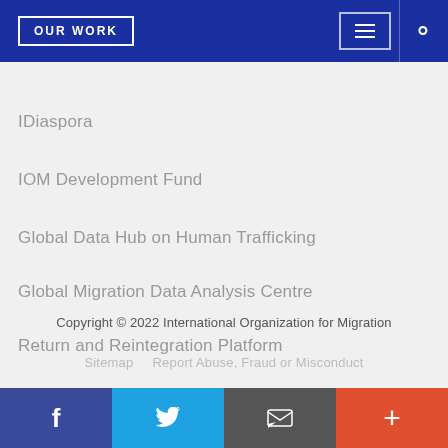OUR WORK
IDiaspora
IOM Development Fund
Global Data Hub on Human Trafficking
Global Migration Data Analysis Centre
Return and Reintegration Platform
Copyright © 2022 International Organization for Migration
Sitemap   Report Abuse, Fraud or Misconduct